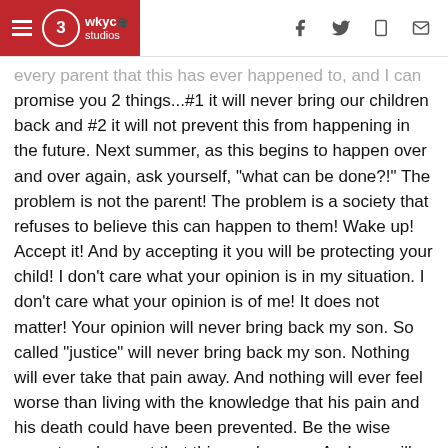WKYC Studios — navigation bar with hamburger menu, WKYC 3 Studios logo, and icons for Facebook, Twitter, mobile, and email
every parent that this has ever happened to, and I can promise you 2 things...#1 it will never bring our children back and #2 it will not prevent this from happening in the future. Next summer, as this begins to happen over and over again, ask yourself, "what can be done?!" The problem is not the parent! The problem is a society that refuses to believe this can happen to them! Wake up! Accept it! And by accepting it you will be protecting your child! I don't care what your opinion is in my situation. I don't care what your opinion is of me! It does not matter! Your opinion will never bring back my son. So called "justice" will never bring back my son. Nothing will ever take that pain away. And nothing will ever feel worse than living with the knowledge that his pain and his death could have been prevented. Be the wise parent, and accept that this can happen. And you will never have to walk the path that my family has had to walk. And I pray YOU never have to walk this path."
Photos | LeAnna Taylor testimony at the Ross Harris hot